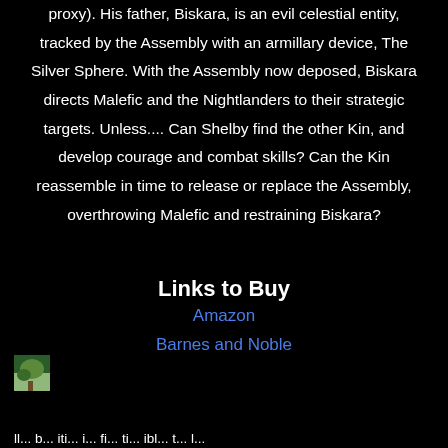proxy). His father, Biskara, is an evil celestial entity, tracked by the Assembly with an armillary device, The Silver Sphere. With the Assembly now deposed, Biskara directs Malefic and the Nightlanders to their strategic targets. Unless.... Can Shelby find the other Kin, and develop courage and combat skills? Can the Kin reassemble in time to release or replace the Assembly, overthrowing Malefic and restraining Biskara?
Links to Buy
Amazon
Barnes and Noble
[Figure (photo): Small thumbnail image, appears to be a nature or landscape photo, positioned at bottom left]
ll... b... iti... i... fi... ti... ibl... t... l...